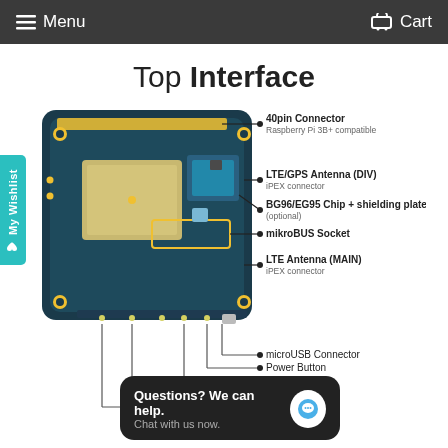Menu   Cart
Top Interface
[Figure (engineering-diagram): Top view of a single-board computer (NB-IoT/LTE HAT for Raspberry Pi) with labeled callouts pointing to: 40pin Connector (Raspberry Pi 3B+ compatible), LTE/GPS Antenna (DIV) iPEX connector, BG96/EG95 Chip + shielding plate (optional), mikroBUS Socket, LTE Antenna (MAIN) iPEX connector, microUSB Connector, Power Button, Reset Button, Earphone Jack, and a partially visible label 'Jack' at the bottom.]
Questions? We can help. Chat with us now.